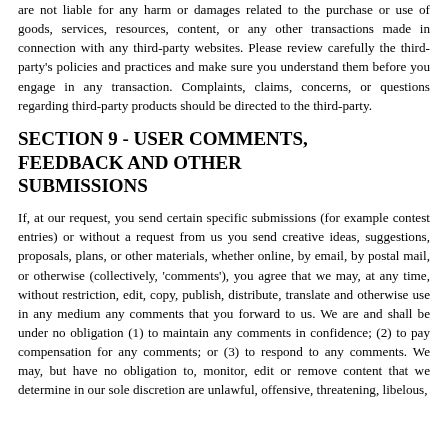are not liable for any harm or damages related to the purchase or use of goods, services, resources, content, or any other transactions made in connection with any third-party websites. Please review carefully the third-party's policies and practices and make sure you understand them before you engage in any transaction. Complaints, claims, concerns, or questions regarding third-party products should be directed to the third-party.
SECTION 9 - USER COMMENTS, FEEDBACK AND OTHER SUBMISSIONS
If, at our request, you send certain specific submissions (for example contest entries) or without a request from us you send creative ideas, suggestions, proposals, plans, or other materials, whether online, by email, by postal mail, or otherwise (collectively, 'comments'), you agree that we may, at any time, without restriction, edit, copy, publish, distribute, translate and otherwise use in any medium any comments that you forward to us. We are and shall be under no obligation (1) to maintain any comments in confidence; (2) to pay compensation for any comments; or (3) to respond to any comments. We may, but have no obligation to, monitor, edit or remove content that we determine in our sole discretion are unlawful, offensive, threatening, libelous,